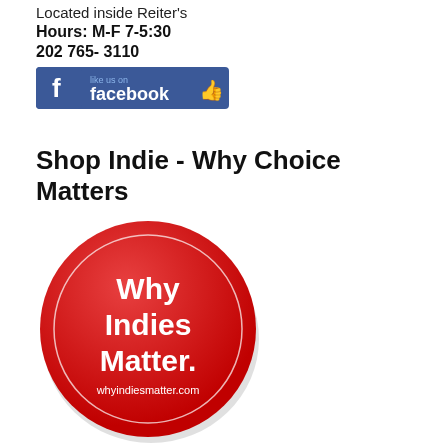Located inside Reiter's
Hours: M-F 7-5:30
202 765- 3110
[Figure (logo): Facebook 'Like us on Facebook' badge with thumbs up icon]
Shop Indie - Why Choice Matters
[Figure (logo): Red circular badge with white text reading 'Why Indies Matter.' and website whyindiesmatter.com]
Indie Bestsellers
[Figure (illustration): Book cover for Llama Llama Back to School]
Llama Llama Back to School
By Anna Dewdney, JT Morrow (Illus.), Reed Duncan